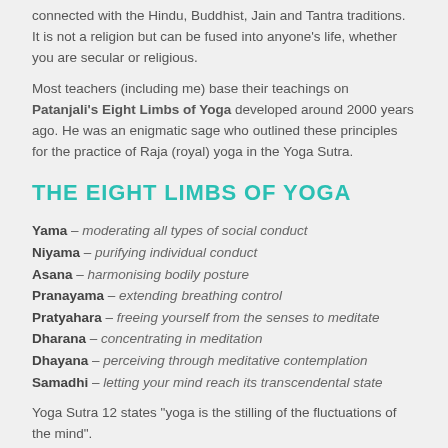connected with the Hindu, Buddhist, Jain and Tantra traditions. It is not a religion but can be fused into anyone's life, whether you are secular or religious.
Most teachers (including me) base their teachings on Patanjali's Eight Limbs of Yoga developed around 2000 years ago. He was an enigmatic sage who outlined these principles for the practice of Raja (royal) yoga in the Yoga Sutra.
THE EIGHT LIMBS OF YOGA
Yama – moderating all types of social conduct
Niyama – purifying individual conduct
Asana – harmonising bodily posture
Pranayama – extending breathing control
Pratyahara – freeing yourself from the senses to meditate
Dharana – concentrating in meditation
Dhayana – perceiving through meditative contemplation
Samadhi – letting your mind reach its transcendental state
Yoga Sutra 12 states "yoga is the stilling of the fluctuations of the mind".
Through yoga we learn to be aware of our bodies and what is actually happening within them. Such increased awareness helps us become more supple,